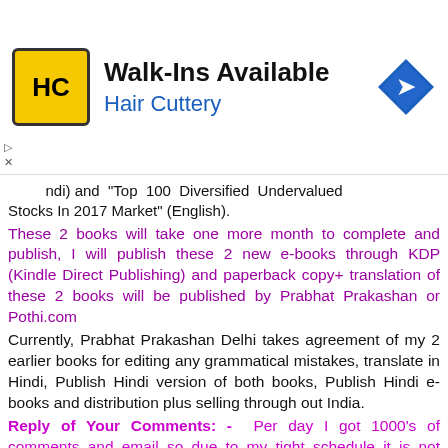[Figure (other): Hair Cuttery advertisement banner with logo (HC in yellow circle), text 'Walk-Ins Available' and 'Hair Cuttery', and a blue navigation diamond icon]
...ndi) and "Top 100 Diversified Undervalued Stocks In 2017 Market" (English).
These 2 books will take one more month to complete and publish, I will publish these 2 new e-books through KDP (Kindle Direct Publishing) and paperback copy+ translation of these 2 books will be published by Prabhat Prakashan or Pothi.com
Currently, Prabhat Prakashan Delhi takes agreement of my 2 earlier books for editing any grammatical mistakes, translate in Hindi, Publish Hindi version of both books, Publish Hindi e-books and distribution plus selling through out India.
Reply of Your Comments: -  Per day I got 1000's of comments and email so due to my tight schedule it is not possible to reply all emails and comments but I try my best to reply maximum comments and emails